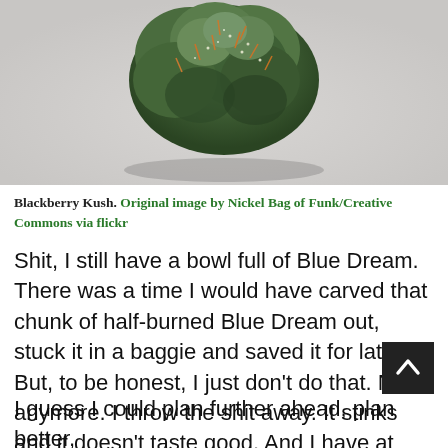[Figure (photo): Close-up photo of a cannabis bud (Blackberry Kush) against a white background]
Blackberry Kush. Original image by Nickel Bag of Funk/Creative Commons via flickr
Shit, I still have a bowl full of Blue Dream. There was a time I would have carved that chunk of half-burned Blue Dream out, stuck it in a baggie and saved it for later. But, to be honest, I just don't do that. Not anymore. I throw the shit away. It stinks and it doesn't taste good. And I have at least a gram of it left in my stash of 10 strains (yes, I just counted them). Then I pack a fresh bowl of the Blackberry Kush.
I guess I could plan further ahead, plan better,